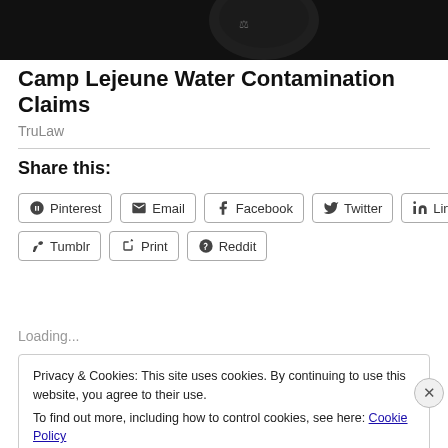[Figure (photo): Dark header image with partially visible graphic/logo on black background]
Camp Lejeune Water Contamination Claims
TruLaw
Share this:
Pinterest  Email  Facebook  Twitter  LinkedIn  Tumblr  Print  Reddit
Loading...
Privacy & Cookies: This site uses cookies. By continuing to use this website, you agree to their use.
To find out more, including how to control cookies, see here: Cookie Policy